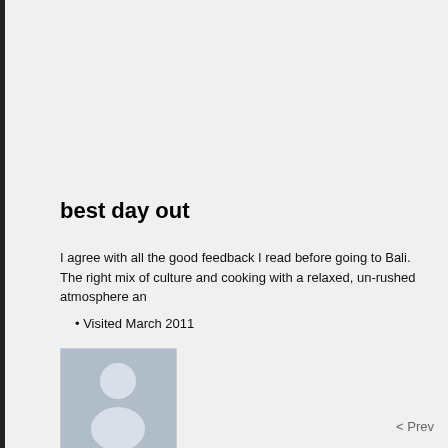best day out
I agree with all the good feedback I read before going to Bali.
The right mix of culture and cooking with a relaxed, un-rushed atmosphere an
Visited March 2011
[Figure (illustration): User avatar placeholder silhouette icon on grey background]
GraemePar...
Burgess Hill, United Kingdom
Source : TripAdvisor.com
< Prev